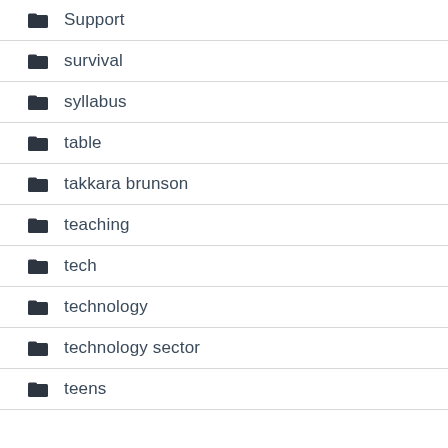Support
survival
syllabus
table
takkara brunson
teaching
tech
technology
technology sector
teens